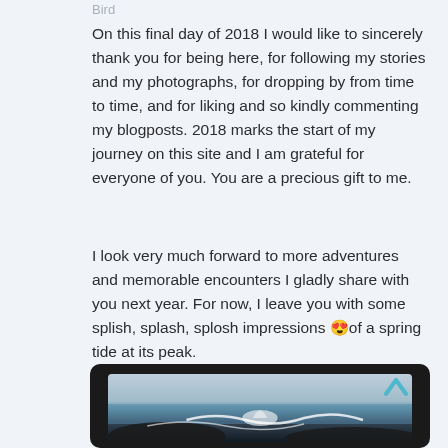Bird
On this final day of 2018 I would like to sincerely thank you for being here, for following my stories and my photographs, for dropping by from time to time, and for liking and so kindly commenting my blogposts. 2018 marks the start of my journey on this site and I am grateful for everyone of you. You are a precious gift to me.
I look very much forward to more adventures and memorable encounters I gladly share with you next year. For now, I leave you with some splish, splash, splosh impressions 😍of a spring tide at its peak.
[Figure (photo): A photograph of a spring tide at its peak, showing ocean waves crashing on dark rocks with a grey cloudy sky, displayed in a dark rounded frame with a back arrow icon.]